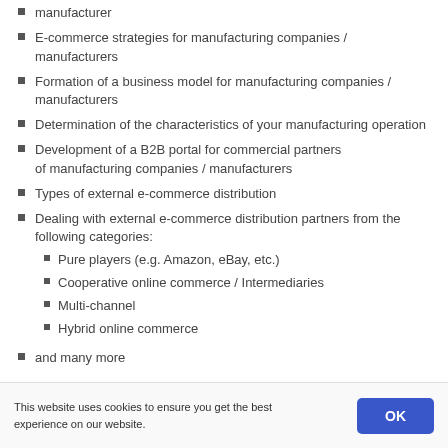manufacturer
E-commerce strategies for manufacturing companies / manufacturers
Formation of a business model for manufacturing companies / manufacturers
Determination of the characteristics of your manufacturing operation
Development of a B2B portal for commercial partners of manufacturing companies / manufacturers
Types of external e-commerce distribution
Dealing with external e-commerce distribution partners from the following categories:
- Pure players (e.g. Amazon, eBay, etc.)
- Cooperative online commerce / Intermediaries
- Multi-channel
- Hybrid online commerce
and many more
Inquire with FOSTEC
This website uses cookies to ensure you get the best experience on our website.